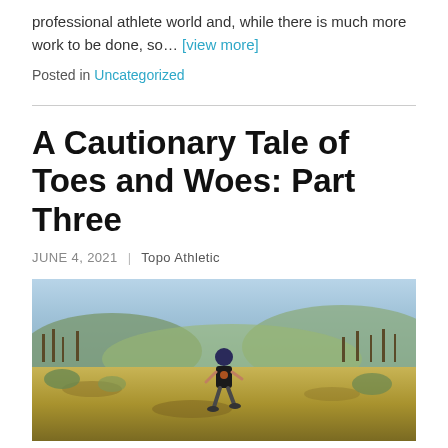professional athlete world and, while there is much more work to be done, so… [view more]
Posted in Uncategorized
A Cautionary Tale of Toes and Woes: Part Three
JUNE 4, 2021 | Topo Athletic
[Figure (photo): A man running on a dry outdoor trail with scrubby vegetation and hills in the background under a blue sky.]